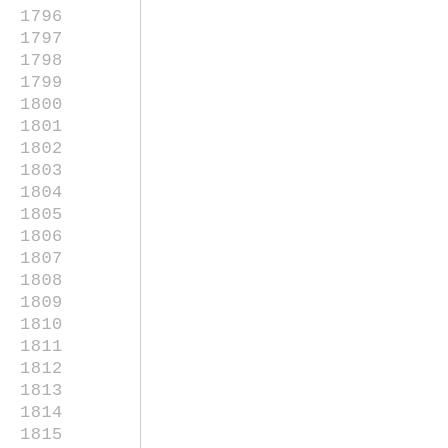1796
1797
1798
1799
1800
1801
1802
1803
1804
1805
1806
1807
1808
1809
1810
1811
1812
1813
1814
1815
1816